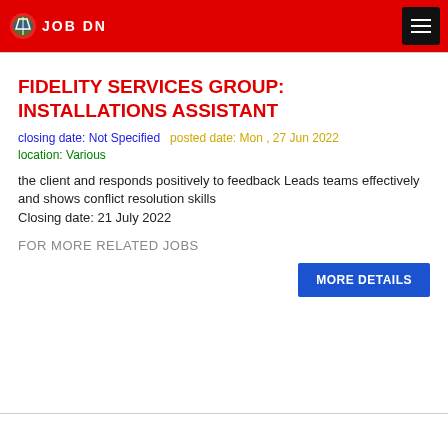JOB DN
FIDELITY SERVICES GROUP: INSTALLATIONS ASSISTANT
closing date: Not Specified  posted date: Mon , 27 Jun 2022
location: Various
the client and responds positively to feedback Leads teams effectively and shows conflict resolution skills
Closing date: 21 July 2022
FOR MORE RELATED JOBS
MORE DETAILS